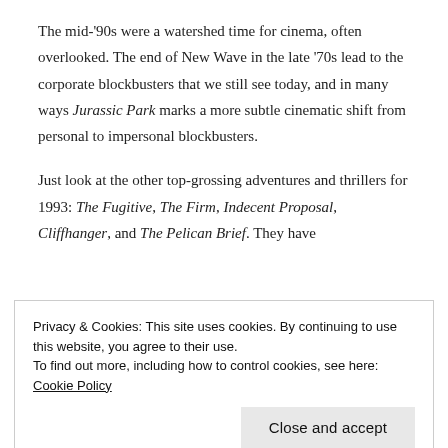The mid-'90s were a watershed time for cinema, often overlooked. The end of New Wave in the late '70s lead to the corporate blockbusters that we still see today, and in many ways Jurassic Park marks a more subtle cinematic shift from personal to impersonal blockbusters.
Just look at the other top-grossing adventures and thrillers for 1993: The Fugitive, The Firm, Indecent Proposal, Cliffhanger, and The Pelican Brief. They have
Privacy & Cookies: This site uses cookies. By continuing to use this website, you agree to their use. To find out more, including how to control cookies, see here: Cookie Policy
The next year brought us True Lies and Speed and Clear